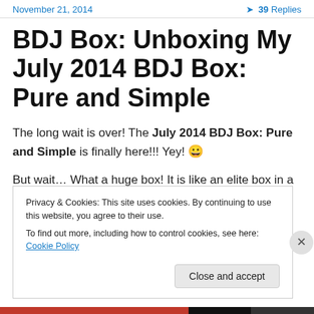November 21, 2014    39 Replies
BDJ Box: Unboxing My July 2014 BDJ Box: Pure and Simple
The long wait is over! The July 2014 BDJ Box: Pure and Simple is finally here!!! Yey! 😀
But wait… What a huge box! It is like an elite box in a regular subscription. Woohoo! 😊
Privacy & Cookies: This site uses cookies. By continuing to use this website, you agree to their use.
To find out more, including how to control cookies, see here: Cookie Policy